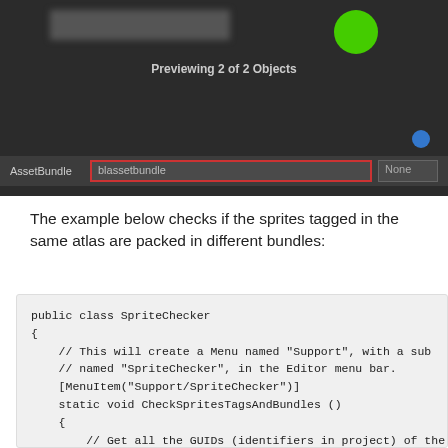[Figure (screenshot): Unity Editor screenshot showing AssetBundle inspector with 'blassetbundle' dropdown highlighted with red border, 'None' dropdown, and a green circle preview. Shows 'Previewing 2 of 2 Objects' label.]
The example below checks if the sprites tagged in the same atlas are packed in different bundles:
public class SpriteChecker
{
    // This will create a Menu named "Support", with a sub
    // named "SpriteChecker", in the Editor menu bar.
    [MenuItem("Support/SpriteChecker")]
    static void CheckSpritesTagsAndBundles ()
    {
        // Get all the GUIDs (identifiers in project) of the Spr
        string[] guids = AssetDatabase.FindAssets ("t:spri